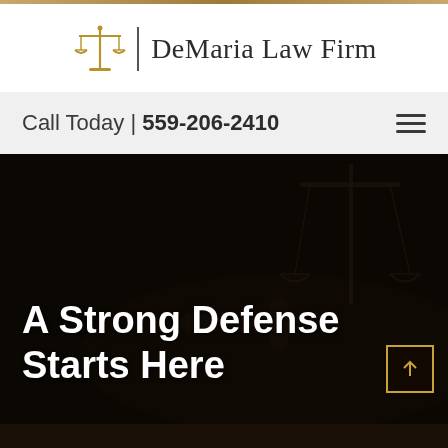[Figure (logo): DeMaria Law Firm logo with gold balance scales icon and vertical divider line, followed by firm name in serif font]
Call Today | 559-206-2410
[Figure (photo): Dark moody background photo showing justice scales and gavel on a desk, heavily darkened]
A Strong Defense Starts Here